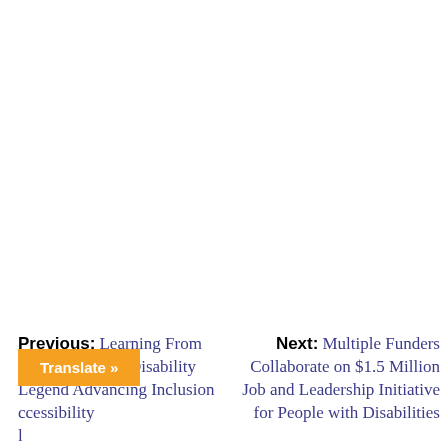Previous: Learning From Judy Heumann, Disability Legend Advancing Inclusion … ccessibility … l
Next: Multiple Funders Collaborate on $1.5 Million Job and Leadership Initiative for People with Disabilities
Translate »